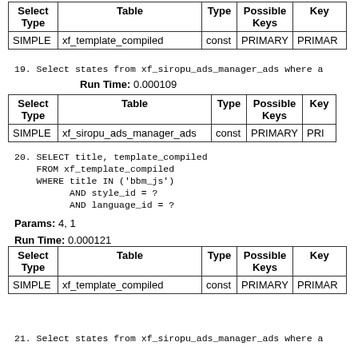| Select Type | Table | Type | Possible Keys | Key |
| --- | --- | --- | --- | --- |
| SIMPLE | xf_template_compiled | const | PRIMARY | PRIMARY |
19. Select states from xf_siropu_ads_manager_ads where a
Run Time: 0.000109
| Select Type | Table | Type | Possible Keys | Key |
| --- | --- | --- | --- | --- |
| SIMPLE | xf_siropu_ads_manager_ads | const | PRIMARY | PRI |
20. SELECT title, template_compiled
    FROM xf_template_compiled
    WHERE title IN ('bbm_js')
          AND style_id = ?
          AND language_id = ?
Params: 4, 1
Run Time: 0.000121
| Select Type | Table | Type | Possible Keys | Key |
| --- | --- | --- | --- | --- |
| SIMPLE | xf_template_compiled | const | PRIMARY | PRIMARY |
21. Select states from xf_siropu_ads_manager_ads where a